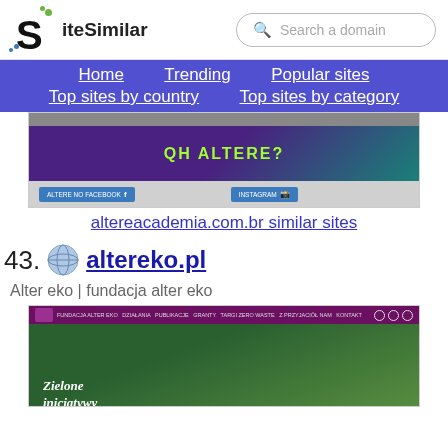SiteSimilar — Search a domain
Home | Trending | Popular sites | Top sites by country | Top sites by category
[Figure (screenshot): Screenshot of altereacademia.com.br website showing a promotional banner with green splashes and text 'QH ALTERE?' and two social media buttons for Facebook and Instagram]
altereacademia.com.br similar sites
43. altereko.pl
Alter eko | fundacja alter eko
[Figure (screenshot): Screenshot of altereko.pl website showing a dark purple header with navigation links and a hero image with green foliage and text 'Zielone inicjatywy']